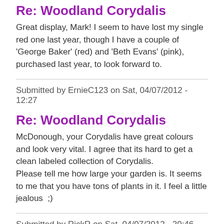Re: Woodland Corydalis
Great display, Mark!  I seem to have lost my single red one last year, though I have a couple of 'George Baker' (red) and 'Beth Evans' (pink), purchased last year, to look forward to.
Submitted by ErnieC123 on Sat, 04/07/2012 - 12:27
Re: Woodland Corydalis
McDonough, your Corydalis have great colours and look very vital. I agree that its hard to get a clean labeled collection of Corydalis.
Please tell me how large your garden is. It seems to me that you have tons of plants in it. I feel a little jealous  ;)
Submitted by RickR on Sat, 04/07/2012 - 20:46